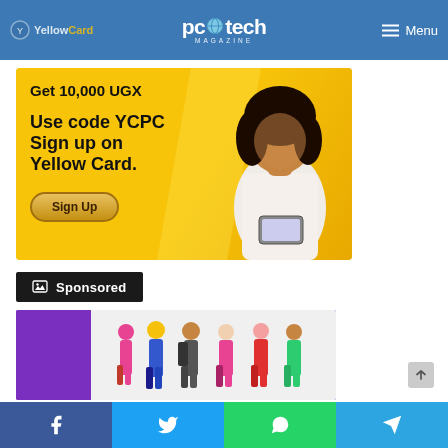YellowCard | pctech MAGAZINE | Menu
[Figure (illustration): Yellow Card advertisement banner: 'Get 10,000 UGX — Use code YCPC Sign up on Yellow Card.' with Sign Up button and smiling woman holding phone on golden yellow background]
Sponsored
[Figure (illustration): Second sponsored advertisement image: partially visible image with purple background and group of people standing]
Social share bar: Facebook, Twitter, WhatsApp, Telegram